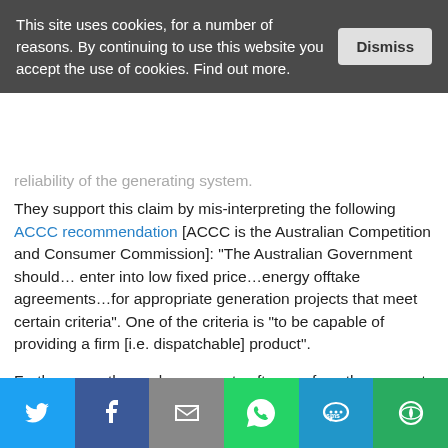This site uses cookies, for a number of reasons. By continuing to use this website you accept the use of cookies. Find out more.
reliability of the generating system.
They support this claim by mis-interpreting the following ACCC recommendation [ACCC is the Australian Competition and Consumer Commission]: “The Australian Government should... enter into low fixed price...energy offtake agreements...for appropriate generation projects that meet certain criteria”. One of the criteria is “to be capable of providing a firm [i.e. dispatchable] product”.
Furthermore, the coal proponents often confuse the concepts of ‘dispatchable’ and ‘baseload’, when in reality these are well-established technical terms with different meanings.
[Figure (infographic): Social sharing bar with Twitter, Facebook, Email, WhatsApp, SMS, and More buttons]